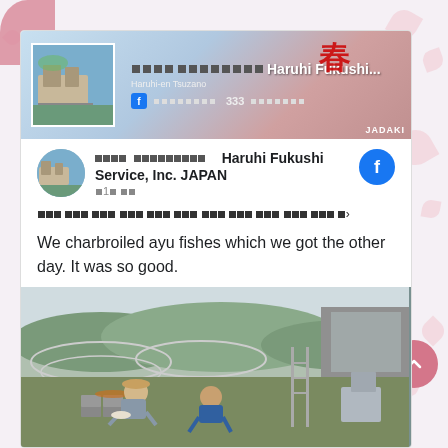[Figure (screenshot): Facebook page banner for Haruhi Fukushi Service, Inc. JAPAN showing a facility photo, Japanese calligraphy, Facebook like count, and the text 'Haruhi Fukushi...' with 'JADAKI' label at bottom right]
□□□□ □□□□□□□□   Haruhi Fukushi Service, Inc. JAPAN
□1□□□
□□□□□□□□□□□□□□□□□□□□□□□□□□□□□□□□□
We charbroiled ayu fishes which we got the other day. It was so good.
[Figure (photo): Outdoor photo of two people charbroiling fish on cinder blocks in what appears to be a farm or agricultural facility setting, with greenhouses and fencing visible in the background]